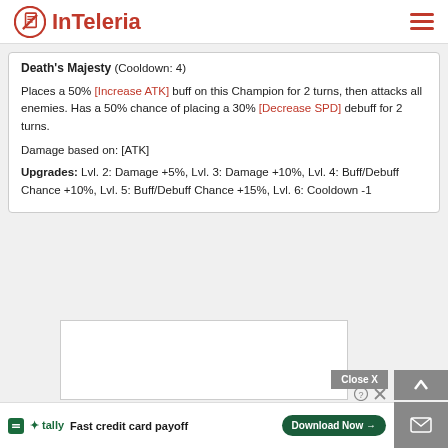InTeleria
Death's Majesty (Cooldown: 4)
Places a 50% [Increase ATK] buff on this Champion for 2 turns, then attacks all enemies. Has a 50% chance of placing a 30% [Decrease SPD] debuff for 2 turns.
Damage based on: [ATK]
Upgrades: Lvl. 2: Damage +5%, Lvl. 3: Damage +10%, Lvl. 4: Buff/Debuff Chance +10%, Lvl. 5: Buff/Debuff Chance +15%, Lvl. 6: Cooldown -1
[Figure (other): Advertisement placeholder - Tally Fast credit card payoff ad with Download Now button]